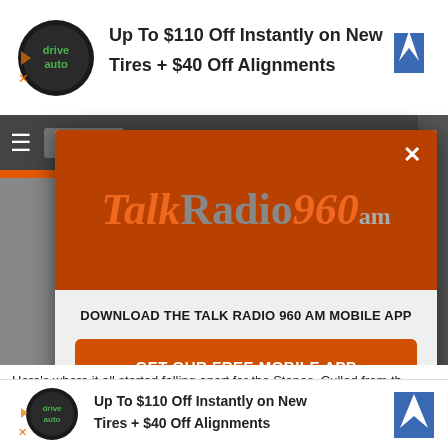[Figure (screenshot): Ad banner at top: Up To $110 Off Instantly on New Tires + $40 Off Alignments with DriveAuto logo and blue navigation icon]
[Figure (screenshot): TalkRadio960am modal popup with orange header, logo, download CTA button, and Amazon Alexa listen option]
DOWNLOAD THE TALK RADIO 960 AM MOBILE APP
GET OUR FREE MOBILE APP
Also listen on:  amazon alexa
Here's where it all started falling apart for the Stones. Culled from th... pair of club...
[Figure (screenshot): Ad banner at bottom: Up To $110 Off Instantly on New Tires + $40 Off Alignments with DriveAuto logo and blue navigation icon]